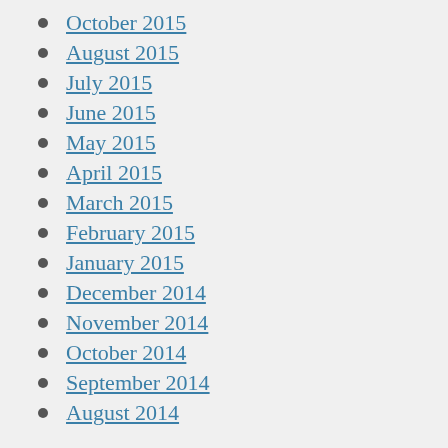October 2015
August 2015
July 2015
June 2015
May 2015
April 2015
March 2015
February 2015
January 2015
December 2014
November 2014
October 2014
September 2014
August 2014